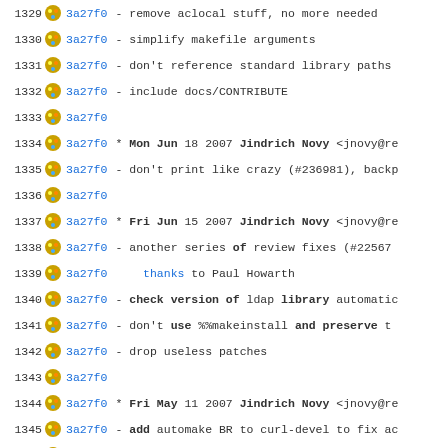1329 3a27f0 - remove aclocal stuff, no more needed
1330 3a27f0 - simplify makefile arguments
1331 3a27f0 - don't reference standard library paths
1332 3a27f0 - include docs/CONTRIBUTE
1333 3a27f0
1334 3a27f0 * Mon Jun 18 2007 Jindrich Novy <jnovy@re
1335 3a27f0 - don't print like crazy (#236981), backp
1336 3a27f0
1337 3a27f0 * Fri Jun 15 2007 Jindrich Novy <jnovy@re
1338 3a27f0 - another series of review fixes (#22567
1339 3a27f0   thanks to Paul Howarth
1340 3a27f0 - check version of ldap library automatic
1341 3a27f0 - don't use %%makeinstall and preserve t
1342 3a27f0 - drop useless patches
1343 3a27f0
1344 3a27f0 * Fri May 11 2007 Jindrich Novy <jnovy@re
1345 3a27f0 - add automake BR to curl-devel to fix ac
1346 3a27f0   thanks to Patrice Dumas
1347 3a27f0
1348 3a27f0 * Thu May 10 2007 Jindrich Novy <jnovy@re
1349 3a27f0 - package libcurl.m4 in curl-devel (#239